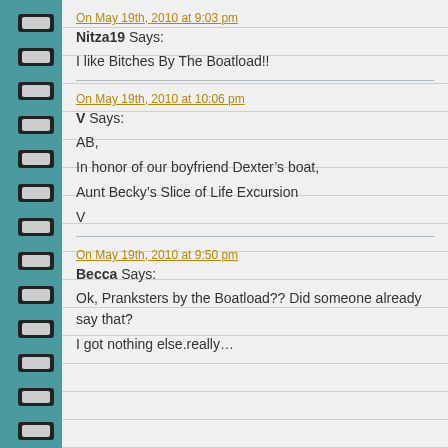On May 19th, 2010 at 9:03 pm
Nitza19 Says:
I like Bitches By The Boatload!!
On May 19th, 2010 at 10:06 pm
V Says:
AB,
In honor of our boyfriend Dexter’s boat,
Aunt Becky’s Slice of Life Excursion
V
On May 19th, 2010 at 9:50 pm
Becca Says:
Ok, Pranksters by the Boatload?? Did someone already say that?
I got nothing else.really…